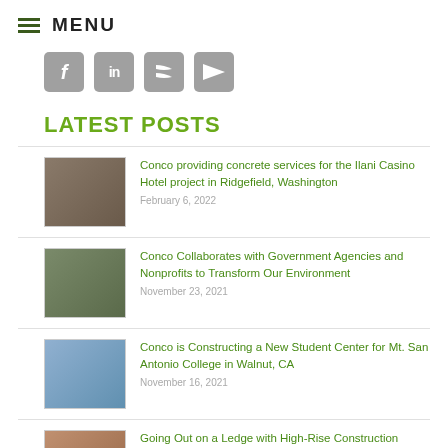MENU
[Figure (infographic): Social media icon buttons: Facebook, LinkedIn, RSS feed, YouTube]
LATEST POSTS
[Figure (photo): Construction site photo for Ilani Casino Hotel]
Conco providing concrete services for the Ilani Casino Hotel project in Ridgefield, Washington
February 6, 2022
[Figure (photo): Construction/environmental site photo]
Conco Collaborates with Government Agencies and Nonprofits to Transform Our Environment
November 23, 2021
[Figure (photo): Student center construction site photo at Mt. San Antonio College]
Conco is Constructing a New Student Center for Mt. San Antonio College in Walnut, CA
November 16, 2021
[Figure (photo): High-rise construction photo]
Going Out on a Ledge with High-Rise Construction